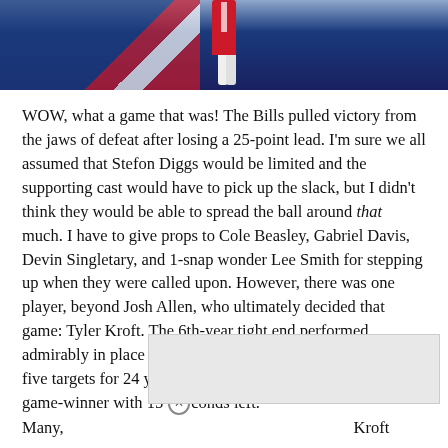[Figure (photo): Sports photo showing a football player in red uniform on a blue field/logo background, appears to be a Buffalo Bills scene]
WOW, what a game that was! The Bills pulled victory from the jaws of defeat after losing a 25-point lead. I'm sure we all assumed that Stefon Diggs would be limited and the supporting cast would have to pick up the slack, but I didn't think they would be able to spread the ball around that much. I have to give props to Cole Beasley, Gabriel Davis, Devin Singletary, and 1-snap wonder Lee Smith for stepping up when they were called upon. However, there was one player, beyond Josh Allen, who ultimately decided that game: Tyler Kroft. The 6th-year tight end performed admirably in place of Dawson Knox, catching four out of five targets for 24 yards and two touchdowns, including the game-winner with 15 seconds left.
Many, [Kroft